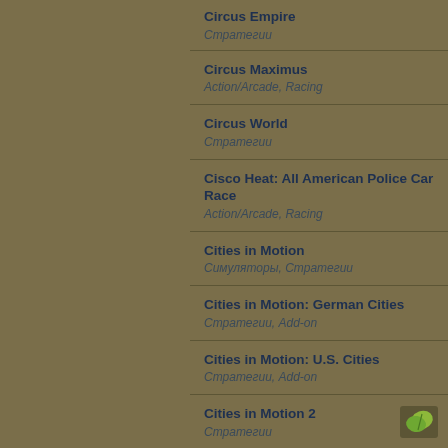Circus Empire
Стратегии
Circus Maximus
Action/Arcade, Racing
Circus World
Стратегии
Cisco Heat: All American Police Car Race
Action/Arcade, Racing
Cities in Motion
Симуляторы, Стратегии
Cities in Motion: German Cities
Стратегии, Add-on
Cities in Motion: U.S. Cities
Стратегии, Add-on
Cities in Motion 2
Стратегии
Cities Unlimited
Стратегии
CITIES XL